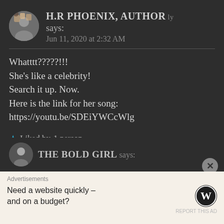H.R PHOENIX, AUTHOR says: Jun 11, 2020 at 2:32 AM
Whatttt?????!!!
She’s like a celebrity!
Search it up. Now.
Here is the link for her song:
https://youtu.be/SDEiYWCcWlg
★ Liked by 1 person
THE BOLD GIRL says:
Advertisements
Need a website quickly – and on a budget?